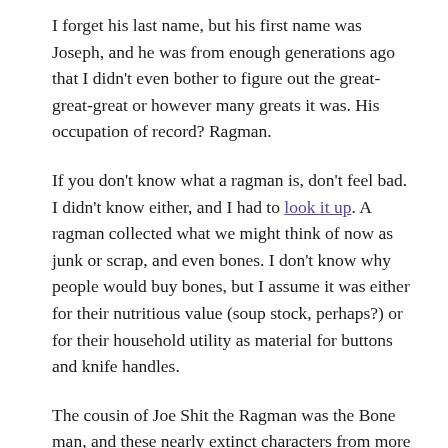I forget his last name, but his first name was Joseph, and he was from enough generations ago that I didn't even bother to figure out the great-great-great or however many greats it was. His occupation of record? Ragman.
If you don't know what a ragman is, don't feel bad. I didn't know either, and I had to look it up. A ragman collected what we might think of now as junk or scrap, and even bones. I don't know why people would buy bones, but I assume it was either for their nutritious value (soup stock, perhaps?) or for their household utility as material for buttons and knife handles.
The cousin of Joe Shit the Ragman was the Bone man, and these nearly extinct characters from more than a century ago went from town to town, supporting themselves on what meager coin they